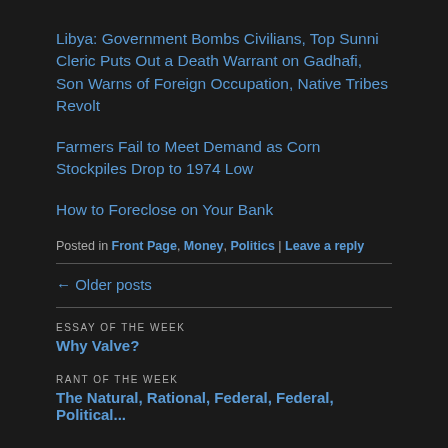Libya: Government Bombs Civilians, Top Sunni Cleric Puts Out a Death Warrant on Gadhafi, Son Warns of Foreign Occupation, Native Tribes Revolt
Farmers Fail to Meet Demand as Corn Stockpiles Drop to 1974 Low
How to Foreclose on Your Bank
Posted in Front Page, Money, Politics | Leave a reply
← Older posts
ESSAY OF THE WEEK
Why Valve?
RANT OF THE WEEK
The Natural, Rational, Federal, Federal, Political...